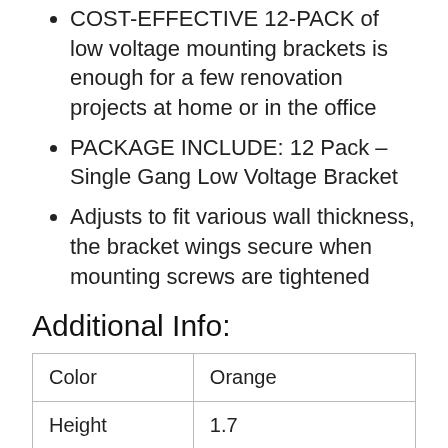COST-EFFECTIVE 12-PACK of low voltage mounting brackets is enough for a few renovation projects at home or in the office
PACKAGE INCLUDE: 12 Pack – Single Gang Low Voltage Bracket
Adjusts to fit various wall thickness, the bracket wings secure when mounting screws are tightened
Additional Info:
| Color | Orange |
| Height | 1.7 |
| Width | 2.5 |
| Length | 5.46 |